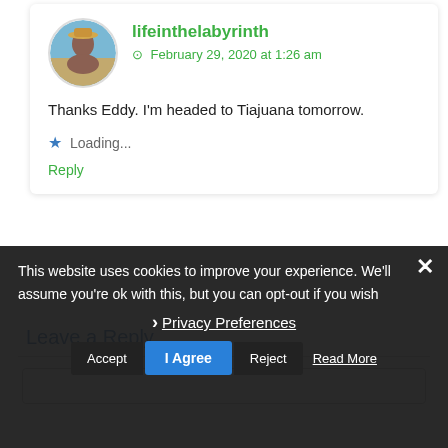[Figure (photo): Circular avatar photo of a woman wearing a hat outdoors with a landscape background]
lifeinthelabyrinth
February 29, 2020 at 1:26 am
Thanks Eddy. I'm headed to Tiajuana tomorrow.
Loading...
Reply
Leave a Reply
This website uses cookies to improve your experience. We'll assume you're ok with this, but you can opt-out if you wish
Privacy Preferences
Accept
I Agree
Reject
Read More